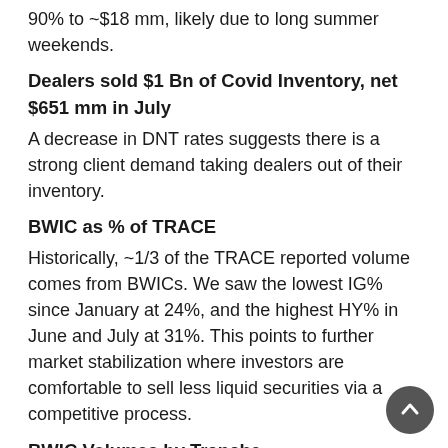90% to ~$18 mm, likely due to long summer weekends.
Dealers sold $1 Bn of Covid Inventory, net $651 mm in July
A decrease in DNT rates suggests there is a strong client demand taking dealers out of their inventory.
BWIC as % of TRACE
Historically, ~1/3 of the TRACE reported volume comes from BWICs. We saw the lowest IG% since January at 24%, and the highest HY% in June and July at 31%. This points to further market stabilization where investors are comfortable to sell less liquid securities via a competitive process.
BWIC Volumes by Tranche
AAA and AA IG volumes were down 50% from their 2020 averages. Meanwhile, HY is steady and CLO equity trading nearly doubled the monthly average in July.
Equity ticket size increased
The average ticket size during...